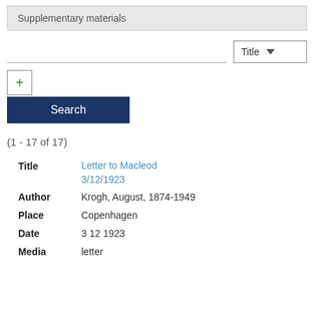Supplementary materials
(1 - 17 of 17)
| Field | Value |
| --- | --- |
| Title | Letter to Macleod 3/12/1923 |
| Author | Krogh, August, 1874-1949 |
| Place | Copenhagen |
| Date | 3 12 1923 |
| Media | letter |